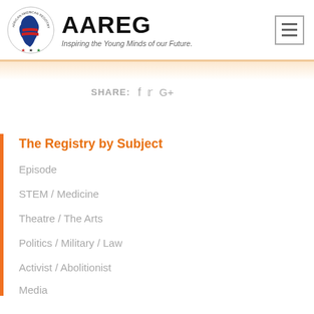[Figure (logo): African American Registry circular logo with Africa continent graphic and stars]
AAREG
Inspiring the Young Minds of our Future.
SHARE: f  G+
The Registry by Subject
Episode
STEM / Medicine
Theatre / The Arts
Politics / Military / Law
Activist / Abolitionist
Media